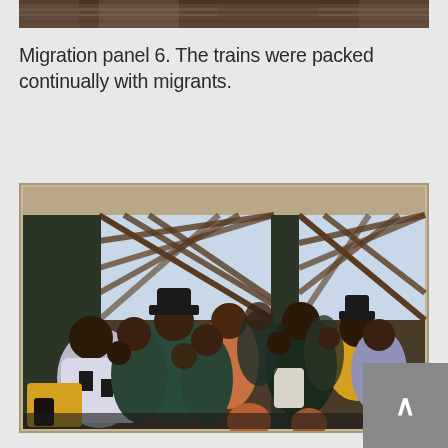[Figure (photo): Top portion of a painting showing dark horizontal forms, partial crop of artwork]
Migration panel 6. The trains were packed continually with migrants.
[Figure (photo): Jacob Lawrence Migration Series Panel 6 painting showing a crowd of people packed together in a train car, with signs reading 'CHICAGO' (partial) and 'NEW YORK' visible above them. The figures are rendered in bold, flat colors of dark teal, black, brown, yellow, and lavender on a background of light blue and dark brown lattice windows.]